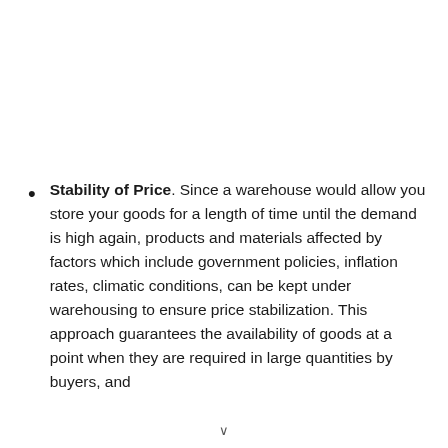Stability of Price. Since a warehouse would allow you store your goods for a length of time until the demand is high again, products and materials affected by factors which include government policies, inflation rates, climatic conditions, can be kept under warehousing to ensure price stabilization. This approach guarantees the availability of goods at a point when they are required in large quantities by buyers, and